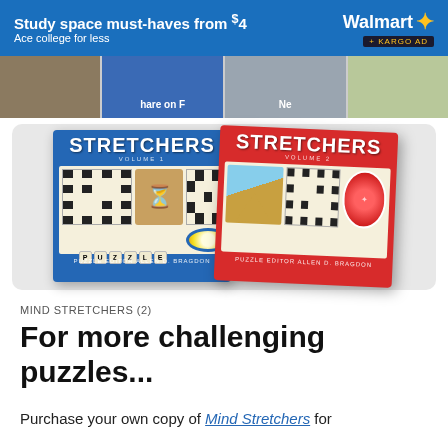[Figure (screenshot): Walmart ad banner: 'Study space must-haves from $4 / Ace college for less' with Walmart logo and +KARGO AD tag on blue background]
[Figure (screenshot): Top strip of website thumbnails showing furniture, person with laptop (Share on F...), person in hoodie (Ne...), and tech accessories]
[Figure (photo): Two Mind Stretchers books (Volume 1 with blue cover and Volume 2 with red cover) showing crossword puzzle imagery and 'PUZZLE EDITOR ALLEN D. BRAGDON']
MIND STRETCHERS (2)
For more challenging puzzles...
Purchase your own copy of Mind Stretchers for